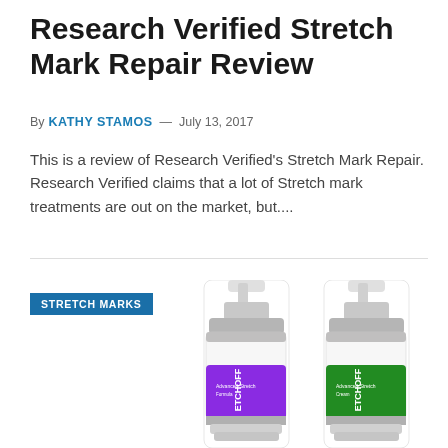Research Verified Stretch Mark Repair Review
By KATHY STAMOS — July 13, 2017
This is a review of Research Verified's Stretch Mark Repair. Research Verified claims that a lot of Stretch mark treatments are out on the market, but....
STRETCH MARKS
[Figure (photo): Two pump bottles of StretchOFF Advanced Stretch Mark formula products — one purple (gel) and one green (cream)]